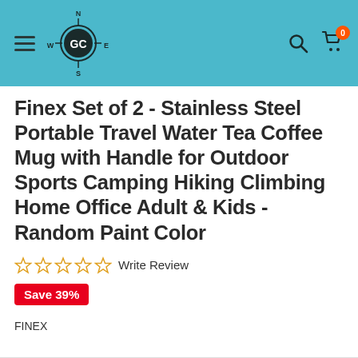GC store header with hamburger menu, logo, search, and cart (0 items)
Finex Set of 2 - Stainless Steel Portable Travel Water Tea Coffee Mug with Handle for Outdoor Sports Camping Hiking Climbing Home Office Adult & Kids - Random Paint Color
☆ ☆ ☆ ☆ ☆ Write Review
Save 39%
FINEX